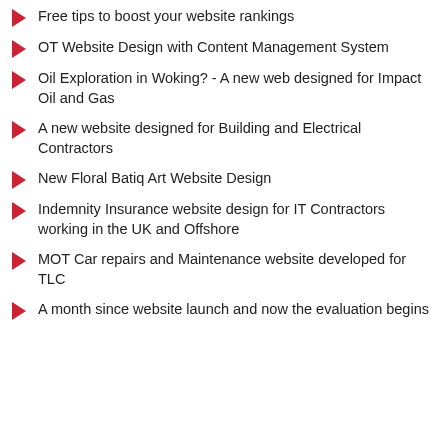Free tips to boost your website rankings
OT Website Design with Content Management System
Oil Exploration in Woking? - A new web designed for Impact Oil and Gas
A new website designed for Building and Electrical Contractors
New Floral Batiq Art Website Design
Indemnity Insurance website design for IT Contractors working in the UK and Offshore
MOT Car repairs and Maintenance website developed for TLC
A month since website launch and now the evaluation begins